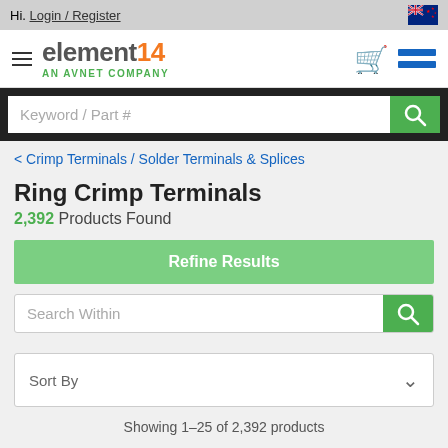Hi. Login / Register
[Figure (logo): element14 AN AVNET COMPANY logo with hamburger menu, shopping cart and menu icon]
Keyword / Part #
< Crimp Terminals / Solder Terminals & Splices
Ring Crimp Terminals
2,392 Products Found
Refine Results
Search Within
Sort By
Showing 1–25 of 2,392 products